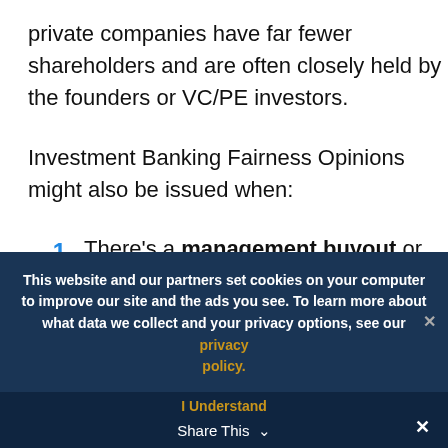private companies have far fewer shareholders and are often closely held by the founders or VC/PE investors.
Investment Banking Fairness Opinions might also be issued when:
There's a management buyout or take-private (a PE firm acquires the company
This website and our partners set cookies on your computer to improve our site and the ads you see. To learn more about what data we collect and your privacy options, see our privacy policy.
I Understand   Share This   ✕